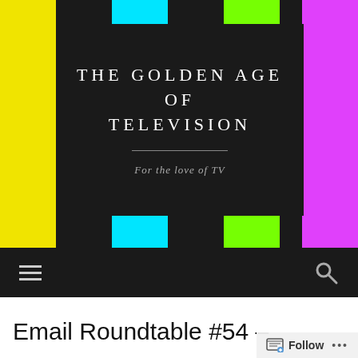[Figure (screenshot): TV color test bars background with yellow, cyan, green, magenta color vertical stripes]
THE GOLDEN AGE OF TELEVISION
For the love of TV
≡  🔍
Email Roundtable #54 –
Follow  •••